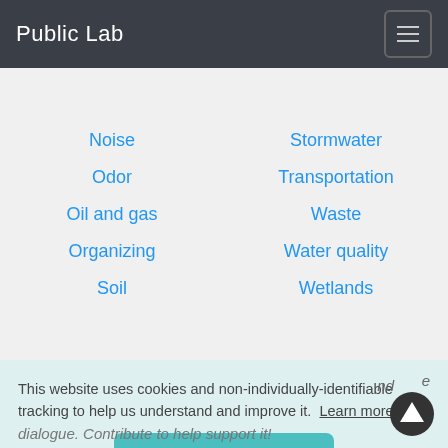Public Lab
Noise
Odor
Oil and gas
Organizing
Soil
Stormwater
Transportation
Waste
Water quality
Wetlands
This website uses cookies and non-individually-identifiable tracking to help us understand and improve it. Learn more
Got it!
dialogue. Contribute to help support it!